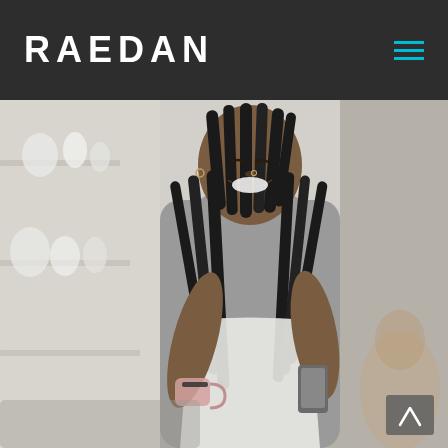RAEDAN
[Figure (photo): A smiling Black woman with long dreadlocks wearing a gray turtleneck sweater and white apron, holding a small mug in one hand and a smartphone in the other, standing in what appears to be a pottery or craft studio with white shelves in the background.]